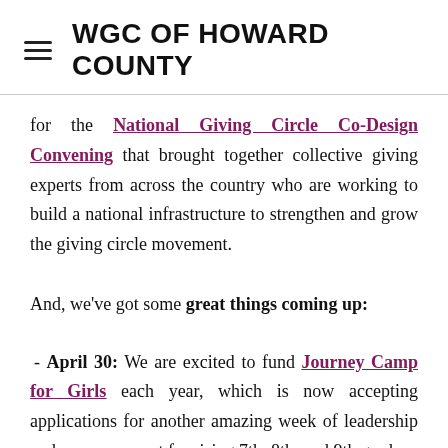WGC OF HOWARD COUNTY
for the National Giving Circle Co-Design Convening that brought together collective giving experts from across the country who are working to build a national infrastructure to strengthen and grow the giving circle movement.
And, we've got some great things coming up:
- April 30: We are excited to fund Journey Camp for Girls each year, which is now accepting applications for another amazing week of leadership and empowerment for rising 7th, 8th, and 9th grade